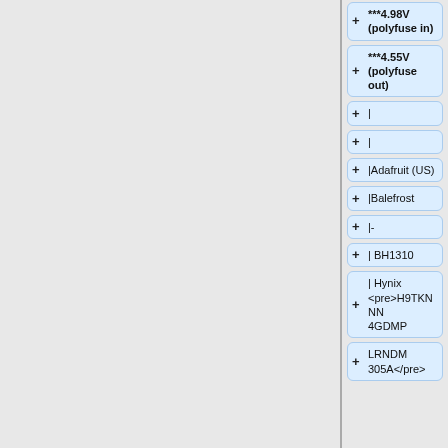***4.98V (polyfuse in)
***4.55V (polyfuse out)
|
|
|Adafruit (US)
|Balefrost
|-
| BH1310
| Hynix <pre>H9TKNNN4GDMP
LRNDM 305A</pre>